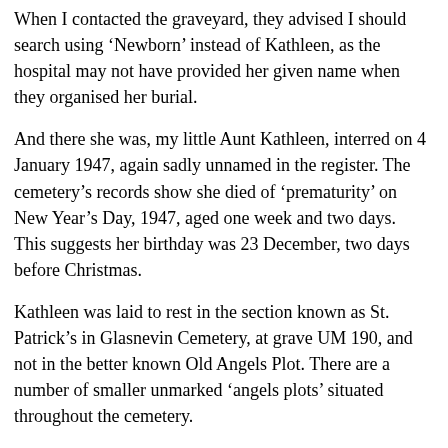When I contacted the graveyard, they advised I should search using ‘Newborn’ instead of Kathleen, as the hospital may not have provided her given name when they organised her burial.
And there she was, my little Aunt Kathleen, interred on 4 January 1947, again sadly unnamed in the register. The cemetery’s records show she died of ‘prematurity’ on New Year’s Day, 1947, aged one week and two days. This suggests her birthday was 23 December, two days before Christmas.
Kathleen was laid to rest in the section known as St. Patrick’s in Glasnevin Cemetery, at grave UM 190, and not in the better known Old Angels Plot. There are a number of smaller unmarked ‘angels plots’ situated throughout the cemetery.
As Kathleen was born prematurely, it was quite probable her mother never got to hold her. Although her parents visited the hospital every day of her short life, they may not have been allowed in to see her. Her father may never have laid eyes on his baby girl. The hospital